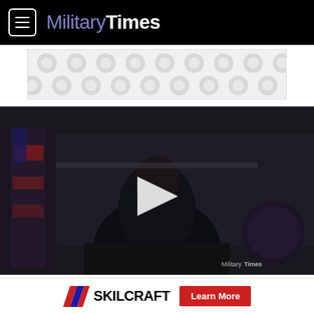Military Times
[Figure (other): Advertisement banner with circular dot pattern in grey tones]
[Figure (photo): Video thumbnail showing a person in dark suit seated at a desk with American flags and presidential seal in background. Large white play button overlay in center. MilitaryTimes watermark in lower right.]
British Prime Minister Theresa May said force was used because “there is no practicable alternative to the use of force to degrade and deter the use of
[Figure (logo): SKILCRAFT advertisement with diagonal striped logo and red Learn More button]